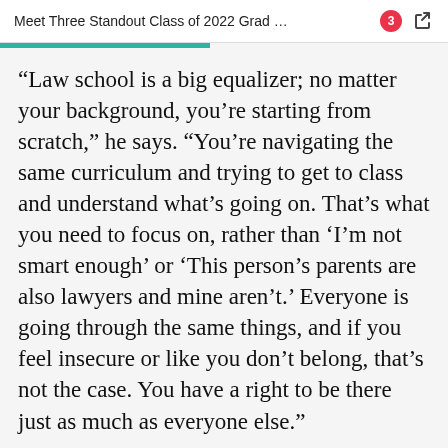Meet Three Standout Class of 2022 Grad …
“Law school is a big equalizer; no matter your background, you’re starting from scratch,” he says. “You’re navigating the same curriculum and trying to get to class and understand what’s going on. That’s what you need to focus on, rather than ‘I’m not smart enough’ or ‘This person’s parents are also lawyers and mine aren’t.’ Everyone is going through the same things, and if you feel insecure or like you don’t belong, that’s not the case. You have a right to be there just as much as everyone else.”
Miranda spent his final year of law school as a visiting law student at the University of